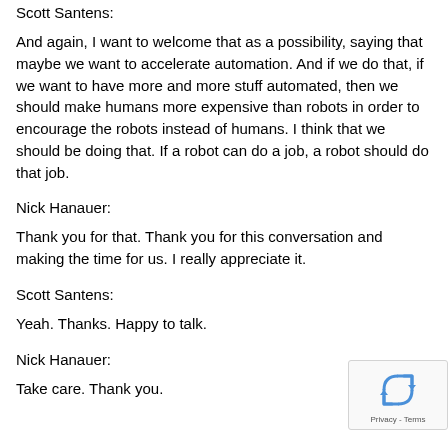Scott Santens:
And again, I want to welcome that as a possibility, saying that maybe we want to accelerate automation. And if we do that, if we want to have more and more stuff automated, then we should make humans more expensive than robots in order to encourage the robots instead of humans. I think that we should be doing that. If a robot can do a job, a robot should do that job.
Nick Hanauer:
Thank you for that. Thank you for this conversation and making the time for us. I really appreciate it.
Scott Santens:
Yeah. Thanks. Happy to talk.
Nick Hanauer:
Take care. Thank you.
[Figure (other): reCAPTCHA privacy badge in bottom right corner showing recycling-arrow logo and 'Privacy - Terms' text]